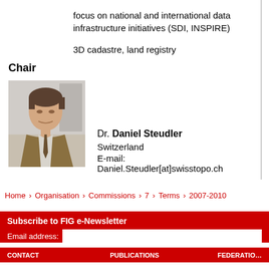focus on national and international data infrastructure initiatives (SDI, INSPIRE)
3D cadastre, land registry
Chair
[Figure (photo): Portrait photo of Dr. Daniel Steudler, a man in a suit with a tie, looking down slightly]
Dr. Daniel Steudler
Switzerland
E-mail:
Daniel.Steudler[at]swisstopo.ch
Home › Organisation › Commissions › 7 › Terms › 2007-2010
Subscribe to FIG e-Newsletter
Email address:
CONTACT   PUBLICATIONS   FEDERATION